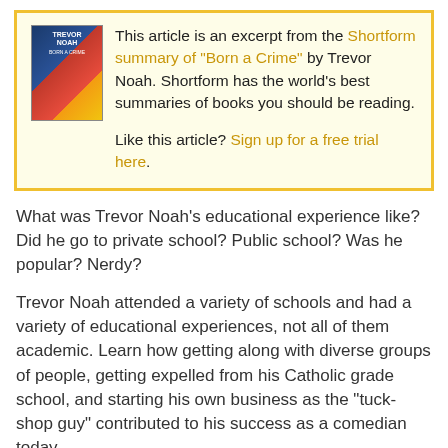This article is an excerpt from the Shortform summary of "Born a Crime" by Trevor Noah. Shortform has the world's best summaries of books you should be reading. Like this article? Sign up for a free trial here.
What was Trevor Noah's educational experience like? Did he go to private school? Public school? Was he popular? Nerdy?
Trevor Noah attended a variety of schools and had a variety of educational experiences, not all of them academic. Learn how getting along with diverse groups of people, getting expelled from his Catholic grade school, and starting his own business as the “tuck-shop guy” contributed to his success as a comedian today.